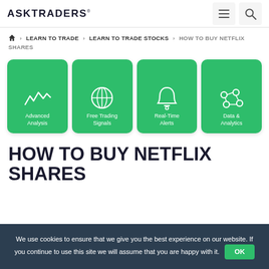ASKTRADERS
Home > LEARN TO TRADE > LEARN TO TRADE STOCKS > HOW TO BUY NETFLIX SHARES
[Figure (infographic): Four green rounded card buttons: Advanced Analysis (heartbeat/waveform icon), Free Trading Signals (globe icon), Real-Time Alerts (bell icon), Data & Analytics (network/graph icon)]
HOW TO BUY NETFLIX SHARES
We use cookies to ensure that we give you the best experience on our website. If you continue to use this site we will assume that you are happy with it. OK